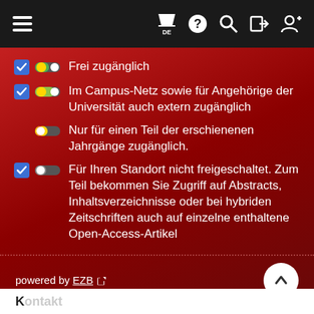Navigation bar with hamburger menu, flag/DE, help, search, login, and add-user icons
Frei zugänglich
Im Campus-Netz sowie für Angehörige der Universität auch extern zugänglich
Nur für einen Teil der erschienenen Jahrgänge zugänglich.
Für Ihren Standort nicht freigeschaltet. Zum Teil bekommen Sie Zugriff auf Abstracts, Inhaltsverzeichnisse oder bei hybriden Zeitschriften auch auf einzelne enthaltene Open-Access-Artikel
powered by EZB
Kontakt